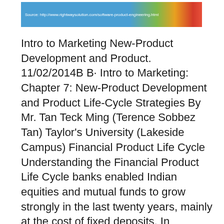[Figure (screenshot): Banner image with gradient colors (blue, green, yellow, red/orange) and source URL text: Source: http://www.rightwaysolution.com/software-product-engineering.html]
Intro to Marketing New-Product Development and Product. 11/02/2014B B· Intro to Marketing: Chapter 7: New-Product Development and Product Life-Cycle Strategies By Mr. Tan Teck Ming (Terence Sobbez Tan) Taylor's University (Lakeside Campus) Financial Product Life Cycle Understanding the Financial Product Life Cycle banks enabled Indian equities and mutual funds to grow strongly in the last twenty years, mainly at the cost of fixed deposits. In particular, when interest rates hit a low at the start of this century, the demand for fixed deposits started to flow. Between the